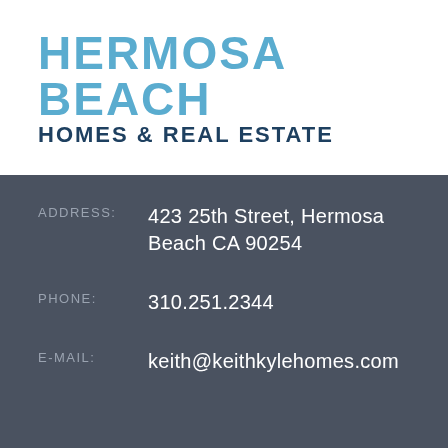[Figure (logo): Hermosa Beach Homes & Real Estate logo with light blue large text 'HERMOSA BEACH' and dark blue bold text 'HOMES & REAL ESTATE' below]
ADDRESS: 423 25th Street, Hermosa Beach CA 90254
PHONE: 310.251.2344
E-MAIL: keith@keithkylehomes.com